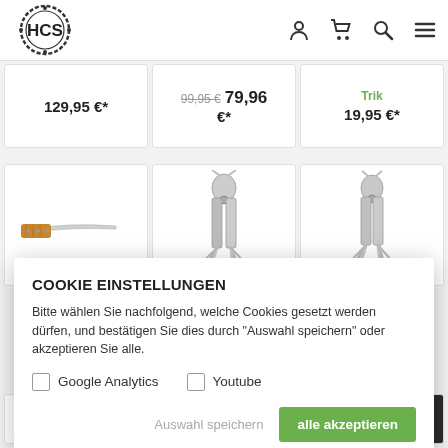[Figure (logo): HCS logo — circular badge with film reel border and 'HCS' text]
[Figure (infographic): E-commerce header icons: person/account, shopping cart, search, hamburger menu]
129,95 €*
99,95 € 79,96 €*
Trik
19,95 €*
[Figure (photo): Knife with wooden handle on white background]
[Figure (photo): Multi-tool pliers open, silver, on white background]
[Figure (photo): Multi-tool pliers open, silver, on white background]
COOKIE EINSTELLUNGEN
Bitte wählen Sie nachfolgend, welche Cookies gesetzt werden dürfen, und bestätigen Sie dies durch "Auswahl speichern" oder akzeptieren Sie alle.
Google Analytics
Youtube
Auswahl speichern
alle akzeptieren
[Figure (photo): Partial multi-tool on white background (bottom row left)]
[Figure (photo): Partial tool/hook on white background (bottom row center)]
[Figure (photo): Leatherman tool on dark background (bottom row right)]